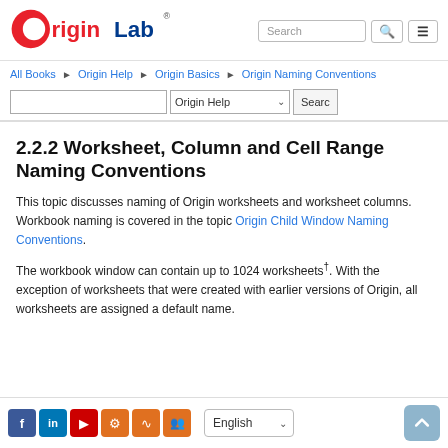OriginLab
All Books ▶ Origin Help ▶ Origin Basics ▶ Origin Naming Conventions
2.2.2 Worksheet, Column and Cell Range Naming Conventions
This topic discusses naming of Origin worksheets and worksheet columns. Workbook naming is covered in the topic Origin Child Window Naming Conventions.
The workbook window can contain up to 1024 worksheets†. With the exception of worksheets that were created with earlier versions of Origin, all worksheets are assigned a default name.
Social icons | English | Up button